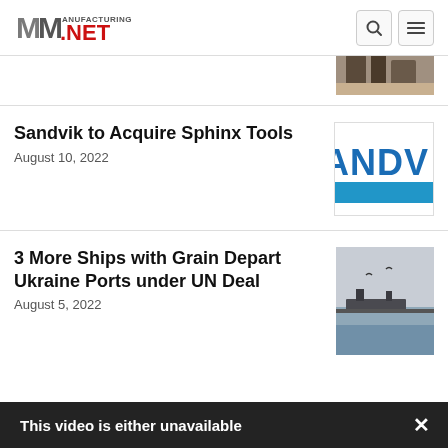Manufacturing.net
[Figure (photo): Partially visible top article thumbnail — appears to show construction/industrial equipment]
Sandvik to Acquire Sphinx Tools
August 10, 2022
[Figure (logo): Sandvik logo — partial: shows 'ANDV' in blue letters with a blue bar below]
3 More Ships with Grain Depart Ukraine Ports under UN Deal
August 5, 2022
[Figure (photo): Photo of ships/harbor in hazy conditions with birds]
This video is either unavailable